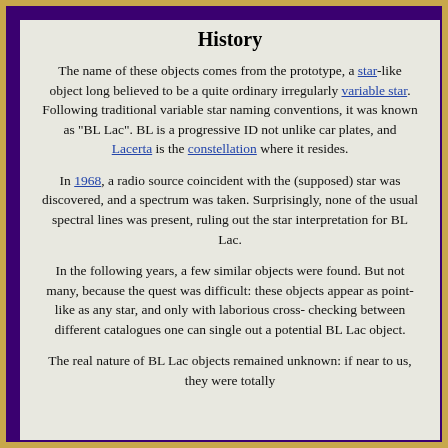History
The name of these objects comes from the prototype, a star-like object long believed to be a quite ordinary irregularly variable star. Following traditional variable star naming conventions, it was known as "BL Lac". BL is a progressive ID not unlike car plates, and Lacerta is the constellation where it resides.
In 1968, a radio source coincident with the (supposed) star was discovered, and a spectrum was taken. Surprisingly, none of the usual spectral lines was present, ruling out the star interpretation for BL Lac.
In the following years, a few similar objects were found. But not many, because the quest was difficult: these objects appear as point-like as any star, and only with laborious cross-checking between different catalogues one can single out a potential BL Lac object.
The real nature of BL Lac objects remained unknown: if near to us, they were totally ...